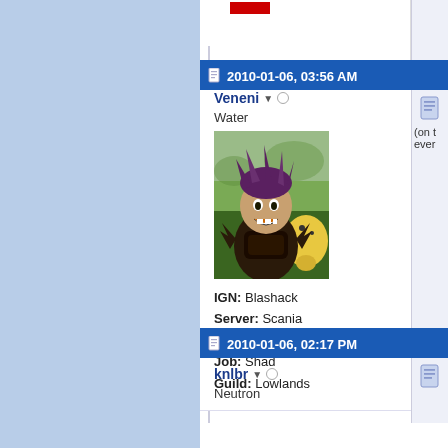2010-01-06, 03:56 AM
Veneni
Water
[Figure (illustration): Forum avatar showing an anime-style character with spiky dark hair, claws, and a grinning expression beside a yellow creature]
IGN: Blashack
Server: Scania
Level: 12x
Job: Shad
Guild: Lowlands
2010-01-06, 02:17 PM
knlbr
Neutron